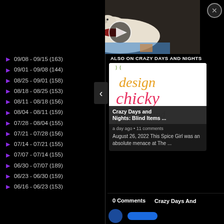[Figure (screenshot): Video player showing a white dog (golden retriever puppy) lying on a colorful blanket at an outdoor market, with a play button overlay. Black background.]
09/08 - 09/15 (163)
09/01 - 09/08 (144)
08/25 - 09/01 (158)
08/18 - 08/25 (153)
08/11 - 08/18 (156)
08/04 - 08/11 (159)
07/28 - 08/04 (155)
07/21 - 07/28 (156)
07/14 - 07/21 (155)
07/07 - 07/14 (155)
06/30 - 07/07 (189)
06/23 - 06/30 (159)
06/16 - 06/23 (153)
ALSO ON CRAZY DAYS AND NIGHTS
[Figure (screenshot): Card with Design Chicky logo image (orange and pink italic text on white background with green flourishes). Overlay shows title 'Crazy Days and Nights: Blind Items ...' A left navigation arrow is visible.]
a day ago • 11 comments
August 26, 2022 This Spice Girl was an absolute menace at The ...
0 Comments
Crazy Days And